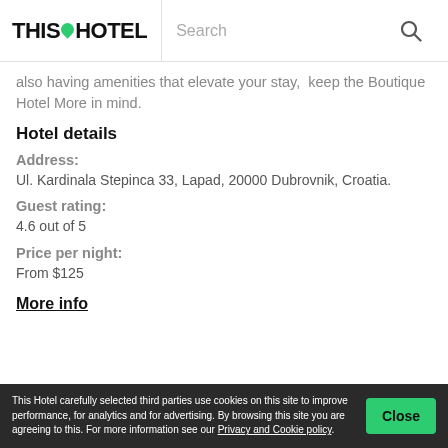THIS HOTEL | Search
also having amenities that elevate your stay,  keep the Boutique Hotel More in mind.
Hotel details
Address:
Ul. Kardinala Stepinca 33, Lapad, 20000 Dubrovnik, Croatia.
Guest rating:
4.6 out of 5
Price per night:
From $125
More info
This Hotel carefully selected third parties use cookies on this site to improve performance, for analytics and for advertising. By browsing this site you are agreeing to this. For more information see our Privacy and Cookie policy.